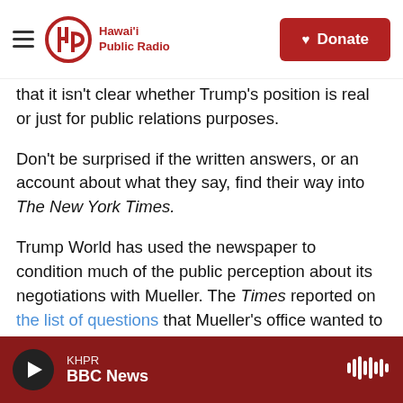Hawai'i Public Radio — Donate
that it isn't clear whether Trump's position is real or just for public relations purposes.
Don't be surprised if the written answers, or an account about what they say, find their way into The New York Times.
Trump World has used the newspaper to condition much of the public perception about its negotiations with Mueller. The Times reported on the list of questions that Mueller's office wanted to ask, per the Trump team.
And the Times also obtained the Trump team's
KHPR — BBC News